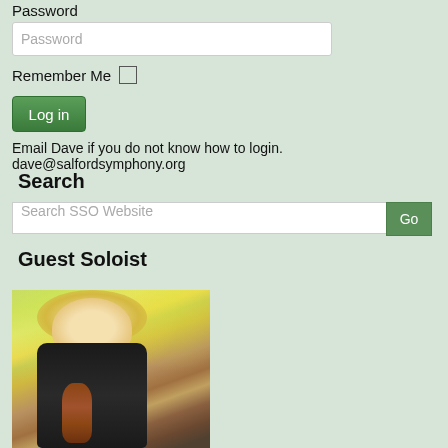Password
Password
Remember Me
Log in
Email Dave if you do not know how to login. dave@salfordsymphony.org
Search
Search SSO Website
Guest Soloist
[Figure (photo): A blonde woman in a black jacket holding a violin, photographed outdoors with autumn foliage in the background.]